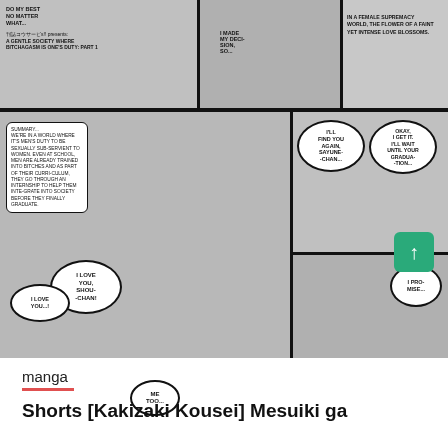[Figure (illustration): Manga page scan showing multiple comic panels. Top row has three panels with speech bubbles including text about a female supremacy world and story summary. Main large panel shows manga characters with speech bubbles 'I LOVE YOU SHOU-CHAN!', 'ME TOO...', 'I LOVE YOU...!'. Right side has two panels with speech bubbles 'I'LL FIND YOU AGAIN, SAYUNE-CHAN...', 'OKAY, I GET IT. I'LL WAIT UNTIL YOUR GRADUA-TION...', 'I PRO-MISE...'. Summary text box describes a world where men are subservient to women.]
manga
Shorts [Kakizaki Kousei] Mesuiki ga